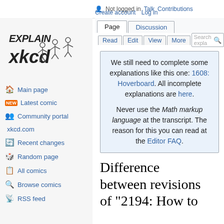Not logged in  Talk  Contributions  Create account  Log in
[Figure (logo): Explain xkcd logo with stick figures and text]
Main page
Latest comic
Community portal
xkcd.com
Recent changes
Random page
All comics
Browse comics
RSS feed
We still need to complete some explanations like this one: 1608: Hoverboard. All incomplete explanations are here.

Never use the Math markup language at the transcript. The reason for this you can read at the Editor FAQ.
Difference between revisions of "2194: How to